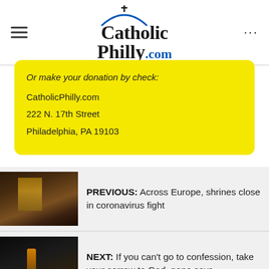CatholicPhilly.com
Or make your donation by check:
CatholicPhilly.com
222 N. 17th Street
Philadelphia, PA 19103
PREVIOUS: Across Europe, shrines close in coronavirus fight
NEXT: If you can't go to confession, take your sorrow to God, pope says